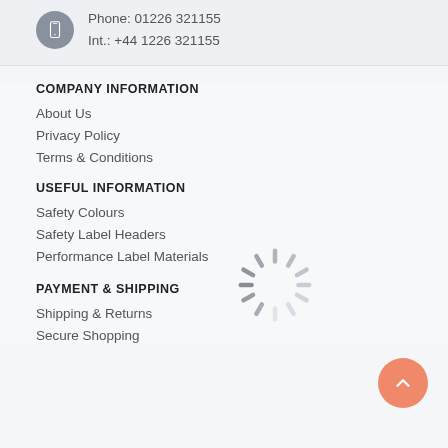Phone: 01226 321155
Int.: +44 1226 321155
COMPANY INFORMATION
About Us
Privacy Policy
Terms & Conditions
USEFUL INFORMATION
[Figure (illustration): Loading spinner / activity indicator graphic, grey radial lines arranged in a circle]
Safety Colours
Safety Label Headers
Performance Label Materials
PAYMENT & SHIPPING
Shipping & Returns
Secure Shopping
[Figure (illustration): Orange circular back-to-top arrow button]